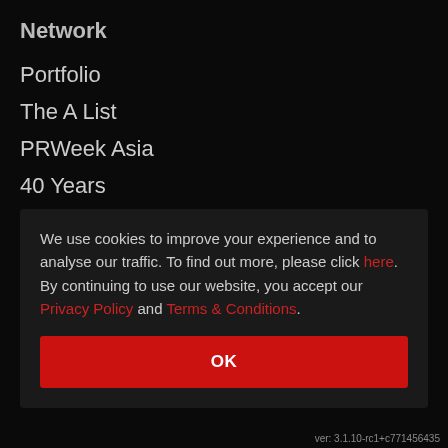Network
Portfolio
The A List
PRWeek Asia
40 Years
International
Campaign Asia
We use cookies to improve your experience and to analyse our traffic. To find out more, please click here. By continuing to use our website, you accept our Privacy Policy and Terms & Conditions.
OK
ver: 3.1.10-rc1+c771456435